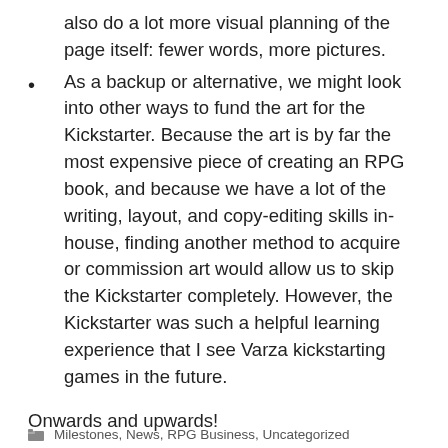also do a lot more visual planning of the page itself: fewer words, more pictures.
As a backup or alternative, we might look into other ways to fund the art for the Kickstarter. Because the art is by far the most expensive piece of creating an RPG book, and because we have a lot of the writing, layout, and copy-editing skills in-house, finding another method to acquire or commission art would allow us to skip the Kickstarter completely. However, the Kickstarter was such a helpful learning experience that I see Varza kickstarting games in the future.
Onwards and upwards!
Milestones, News, RPG Business, Uncategorized